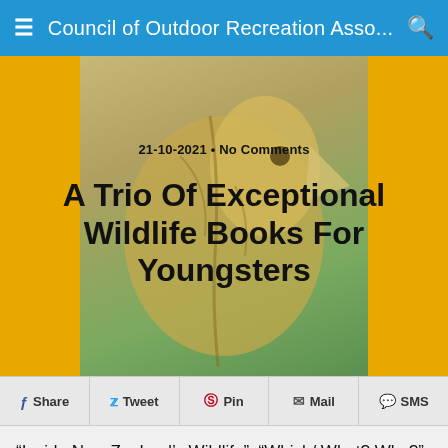Council of Outdoor Recreation Asso...
[Figure (photo): Hero image showing a stylized bird illustration (kiwi or similar NZ bird cross-section) on an amber/gold background, serving as the article header image]
21-10-2021 • No Comments
A Trio Of Exceptional Wildlife Books For Youngsters
Share  Tweet  Pin  Mail  SMS
“Inside New Zealand’s Wildlife”, “Which/ What? Why?”  (subtitled NZ Country Life) and “Which? What? Why?” (subtitled NZ Forest Wildlife”) by Dave Gunson, published by Bateman Books. Price (each) $19.99. Reviewed by Tony Orman.